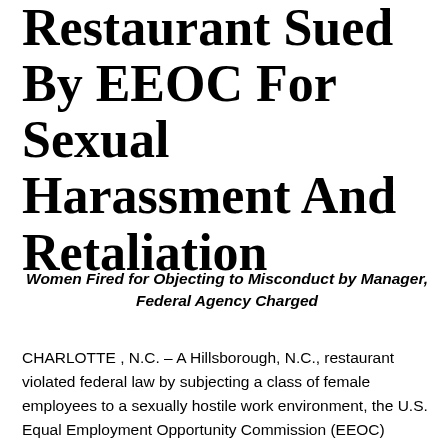Restaurant Sued By EEOC For Sexual Harassment And Retaliation
Women Fired for Objecting to Misconduct by Manager, Federal Agency Charged
CHARLOTTE , N.C. – A Hillsborough, N.C., restaurant violated federal law by subjecting a class of female employees to a sexually hostile work environment, the U.S. Equal Employment Opportunity Commission (EEOC) charged in a lawsuit filed today. The EEOC's lawsuit further charged that at least one female employee quit